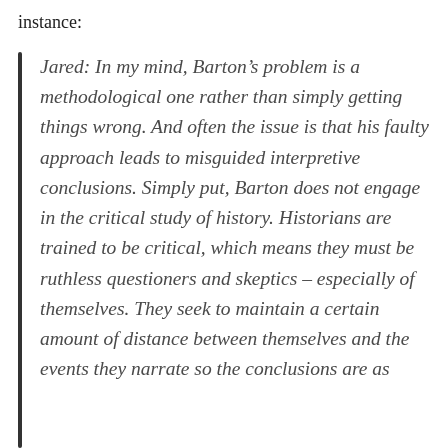instance:
Jared: In my mind, Barton’s problem is a methodological one rather than simply getting things wrong. And often the issue is that his faulty approach leads to misguided interpretive conclusions. Simply put, Barton does not engage in the critical study of history. Historians are trained to be critical, which means they must be ruthless questioners and skeptics – especially of themselves. They seek to maintain a certain amount of distance between themselves and the events they narrate so the conclusions are as